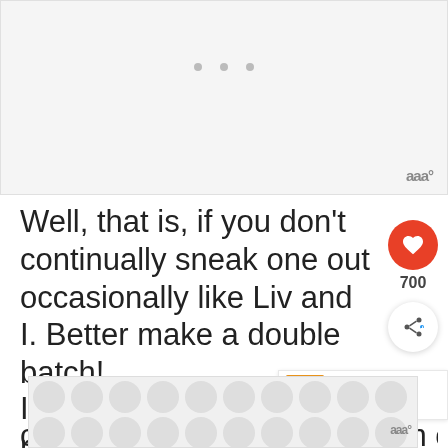[Figure (other): Advertisement placeholder with grey background and three dots, brand logo bottom right]
Well, that is, if you don't continually sneak one out occasionally like Liv and I. Better make a double batch!
[Figure (infographic): Heart icon button (red circle with white heart), 700 count label, share icon button (white circle)]
[Figure (other): What's Next banner with orange food thumbnail and text 'Orange Pineapple...']
If you liked this recipe you may check out this great collection of No
[Figure (other): Advertisement placeholder with grey circle pattern background]
aaa°